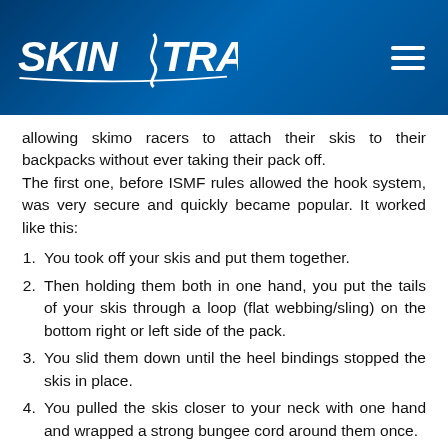SKIN TRACK
allowing skimo racers to attach their skis to their backpacks without ever taking their pack off. The first one, before ISMF rules allowed the hook system, was very secure and quickly became popular. It worked like this:
You took off your skis and put them together.
Then holding them both in one hand, you put the tails of your skis through a loop (flat webbing/sling) on the bottom right or left side of the pack.
You slid them down until the heel bindings stopped the skis in place.
You pulled the skis closer to your neck with one hand and wrapped a strong bungee cord around them once.